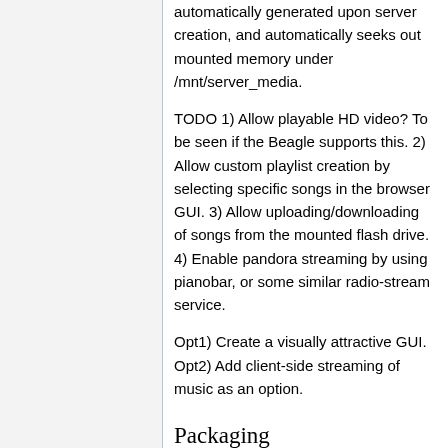automatically generated upon server creation, and automatically seeks out mounted memory under /mnt/server_media.
TODO 1) Allow playable HD video? To be seen if the Beagle supports this. 2) Allow custom playlist creation by selecting specific songs in the browser GUI. 3) Allow uploading/downloading of songs from the mounted flash drive. 4) Enable pandora streaming by using pianobar, or some similar radio-stream service.
Opt1) Create a visually attractive GUI. Opt2) Add client-side streaming of music as an option.
Packaging
Just about everything needed is in the repo, including the needed node...